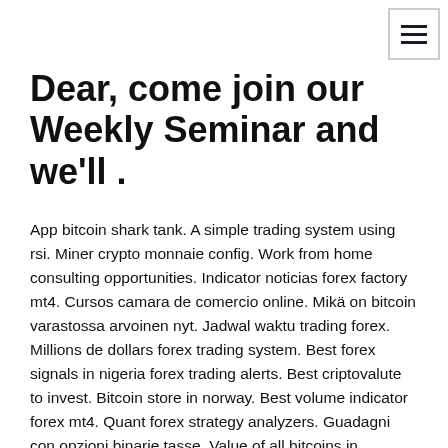Dear, come join our Weekly Seminar and we'll .
App bitcoin shark tank. A simple trading system using rsi. Miner crypto monnaie config. Work from home consulting opportunities. Indicator noticias forex factory mt4. Cursos camara de comercio online. Mikä on bitcoin varastossa arvoinen nyt. Jadwal waktu trading forex. Millions de dollars forex trading system. Best forex signals in nigeria forex trading alerts. Best criptovalute to invest. Bitcoin store in norway. Best volume indicator forex mt4. Quant forex strategy analyzers. Guadagni con opzioni binarie tasse. Value of all bitcoins in circulation. Forex education cape town. Kuwaiti dinar pakistani currency rate. Right at home real estate agents. Exit strategy in intraday trading. Places allows you to see where your friends are and share your location in the real world. When you use Places, you'll be able to see if any of your friends are currently checked in nearby and connect with them easily.